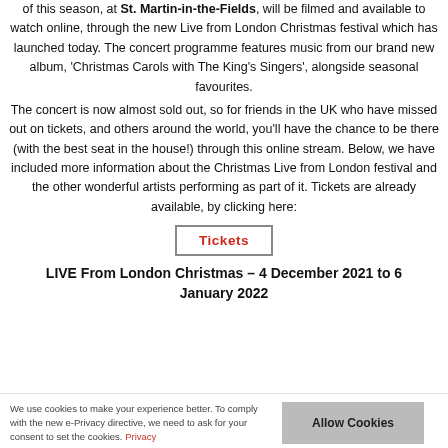of this season, at St. Martin-in-the-Fields, will be filmed and available to watch online, through the new Live from London Christmas festival which has launched today. The concert programme features music from our brand new album, 'Christmas Carols with The King's Singers', alongside seasonal favourites.
The concert is now almost sold out, so for friends in the UK who have missed out on tickets, and others around the world, you'll have the chance to be there (with the best seat in the house!) through this online stream. Below, we have included more information about the Christmas Live from London festival and the other wonderful artists performing as part of it. Tickets are already available, by clicking here:
[Figure (other): Tickets button with red bold text 'Tickets' inside a bordered rectangle]
LIVE From London Christmas – 4 December 2021 to 6 January 2022
We use cookies to make your experience better. To comply with the new e-Privacy directive, we need to ask for your consent to set the cookies. Privacy